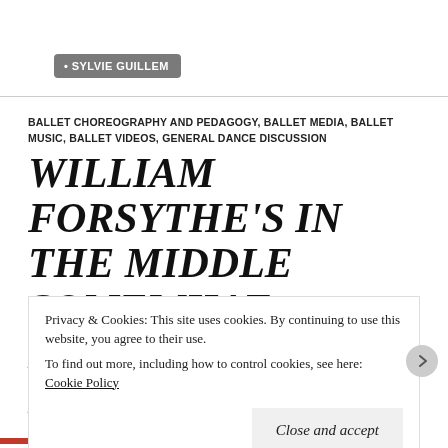SYLVIE GUILLEM
BALLET CHOREOGRAPHY AND PEDAGOGY, BALLET MEDIA, BALLET MUSIC, BALLET VIDEOS, GENERAL DANCE DISCUSSION
WILLIAM FORSYTHE'S IN THE MIDDLE SOMEWHAT ELEVATED: EXCERPTS….
Privacy & Cookies: This site uses cookies. By continuing to use this website, you agree to their use.
To find out more, including how to control cookies, see here: Cookie Policy
Close and accept